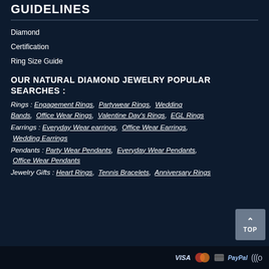GUIDELINES
Diamond
Certification
Ring Size Guide
OUR NATURAL DIAMOND JEWELRY POPULAR SEARCHES :
Rings : Engagement Rings, Partywear Rings, Wedding Bands, Office Wear Rings, Valentine Day's Rings, EGL Rings
Earrings : Everyday Wear earrings, Office Wear Earrings, Wedding Earrings
Pendants : Party Wear Pendants, Everyday Wear Pendants, Office Wear Pendants
Jewelry Gifts : Heart Rings, Tennis Bracelets, Anniversary Rings
VISA MasterCard PayPal